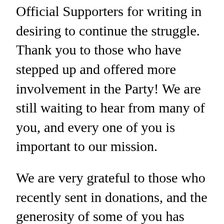Official Supporters for writing in desiring to continue the struggle. Thank you to those who have stepped up and offered more involvement in the Party! We are still waiting to hear from many of you, and every one of you is important to our mission.
We are very grateful to those who recently sent in donations, and the generosity of some of you has been very encouraging to ANP staff. That said, we are still shy of our fundraising goal to pay for our annual webhosting. If you can contribute some to the cause now it would be